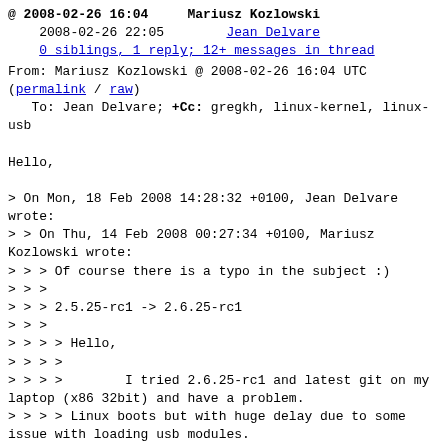@ 2008-02-26 16:04   Mariusz Kozlowski
  2008-02-26 22:05   Jean Delvare
  0 siblings, 1 reply; 12+ messages in thread
From: Mariusz Kozlowski @ 2008-02-26 16:04 UTC
(permalink / raw)
   To: Jean Delvare; +Cc: gregkh, linux-kernel, linux-usb
Hello,

> On Mon, 18 Feb 2008 14:28:32 +0100, Jean Delvare wrote:
> > On Thu, 14 Feb 2008 00:27:34 +0100, Mariusz Kozlowski wrote:
> > > Of course there is a typo in the subject :)
> > >
> > > 2.5.25-rc1 -> 2.6.25-rc1
> > >
> > > > Hello,
> > > >
> > > >        I tried 2.6.25-rc1 and latest git on my laptop (x86 32bit) and have a problem.
> > > > Linux boots but with huge delay due to some issue with loading usb modules.
> > > > Udev complains:
> > > >
> > > > 'Could not lock modprobe uhci_hcd'
> > > > 'Could not lock modprobe yenta_socket'
> > > > 'Unknown symbol usb_*'
> > > > 'Gave up waiting for init of module usbcore'